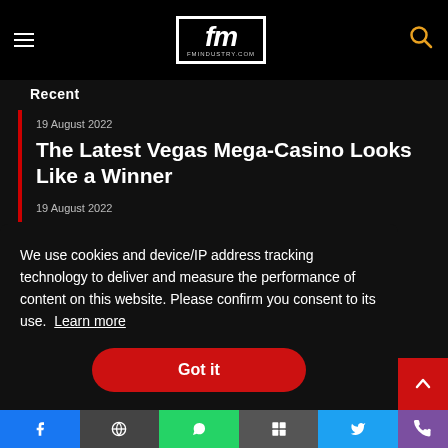[Figure (logo): FM Industry logo with hamburger menu and search icon on black header bar]
Recent
19 August 2022
The Latest Vegas Mega-Casino Looks Like a Winner
19 August 2022
We use cookies and device/IP address tracking technology to deliver and measure the performance of content on this website. Please confirm you consent to its use. Learn more
Got it